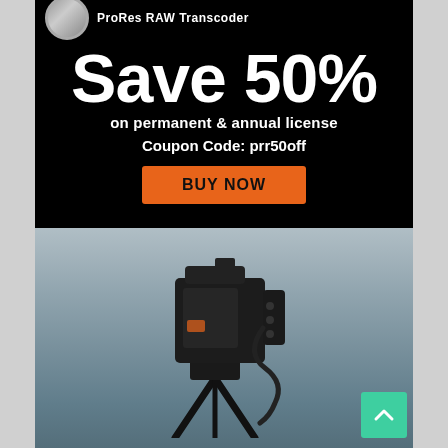[Figure (infographic): Black background advertisement banner for ProRes RAW Transcoder. Shows large white text 'Save 50%', subtitle 'on permanent & annual license', 'Coupon Code: prr50off', and an orange 'BUY NOW' button. Top-left has a partial circular logo with product name 'ProRes RAW Transcoder'.]
[Figure (photo): Photograph of a professional video camera (possibly Atomos or similar) mounted on a rig/tripod against a cloudy sky background. A teal/green scroll-to-top arrow button is overlaid at the bottom right.]